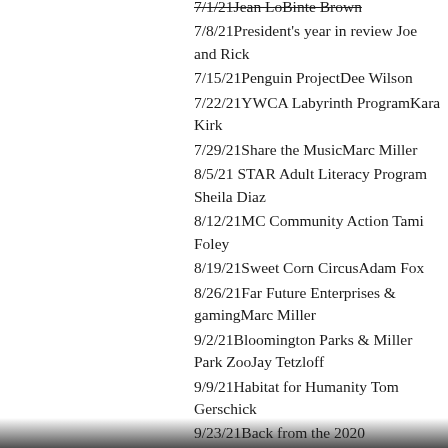7/1/21 Jean LoBinte Brown
7/8/21 President's year in review Joe and Rick
7/15/21 Penguin Project Dee Wilson
7/22/21 YWCA Labyrinth Program Kara Kirk
7/29/21 Share the Music Marc Miller
8/5/21 STAR Adult Literacy Program Sheila Diaz
8/12/21 MC Community Action Tami Foley
8/19/21 Sweet Corn Circus Adam Fox
8/26/21 Far Future Enterprises & gaming Marc Miller
9/2/21 Bloomington Parks & Miller Park Zoo Jay Tetzloff
9/9/21 Habitat for Humanity Tom Gerschick
9/23/21 Back from the 2020 Olympics Corrine Grotenhuis
9/30/21   Sugar Creek Arts Festival   Doug Johnson, McLean County Arts Center
10/7/21   NO PROGRAM
10/14/21  Malaria Eradication update
Hank Campbell, Zimmerman